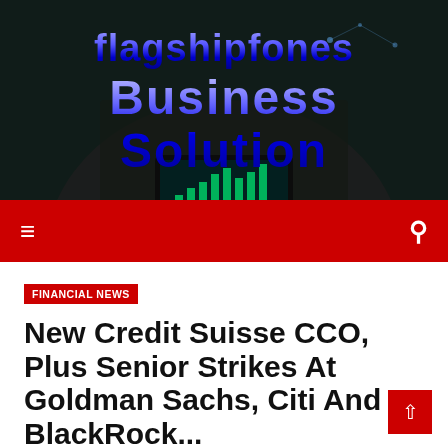[Figure (photo): Dark background image of a business person in a suit holding a tablet, with a bar chart graphic overlay showing green bars, used as website header banner background]
flagshipfones Business Solution
≡  🔍
FINANCIAL NEWS
New Credit Suisse CCO, Plus Senior Strikes At Goldman Sachs, Citi And BlackRock...